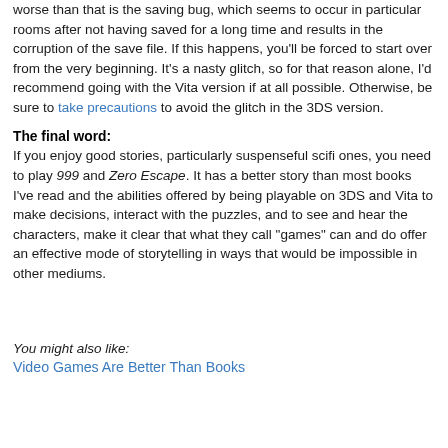worse than that is the saving bug, which seems to occur in particular rooms after not having saved for a long time and results in the corruption of the save file. If this happens, you'll be forced to start over from the very beginning. It's a nasty glitch, so for that reason alone, I'd recommend going with the Vita version if at all possible. Otherwise, be sure to take precautions to avoid the glitch in the 3DS version.
The final word:
If you enjoy good stories, particularly suspenseful scifi ones, you need to play 999 and Zero Escape. It has a better story than most books I've read and the abilities offered by being playable on 3DS and Vita to make decisions, interact with the puzzles, and to see and hear the characters, make it clear that what they call "games" can and do offer an effective mode of storytelling in ways that would be impossible in other mediums.
You might also like:
Video Games Are Better Than Books